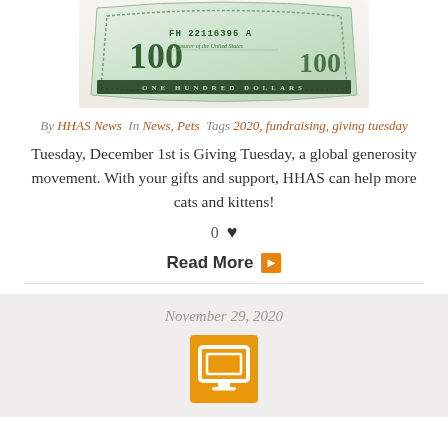[Figure (photo): A $100 US dollar bill, partially visible, showing the serial number FH 22116395 A on a light beige background]
By HHAS News  In News, Pets  Tags 2020, fundraising, giving tuesday
Tuesday, December 1st is Giving Tuesday, a global generosity movement. With your gifts and support, HHAS can help more cats and kittens!
0 ♥
Read More ▶
November 29, 2020
[Figure (illustration): Orange/yellow square icon with a monitor/TV screen symbol (white rectangle with border inside an orange square)]